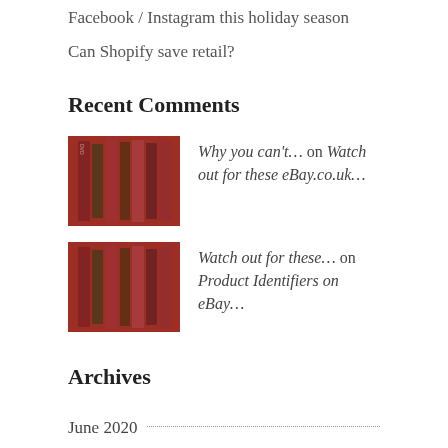Facebook / Instagram this holiday season
Can Shopify save retail?
Recent Comments
Why you can't… on Watch out for these eBay.co.uk…
Watch out for these… on Product Identifiers on eBay…
Archives
June 2020
March 2020
February 2020